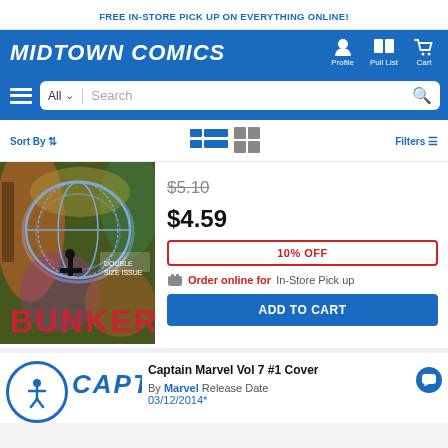FREE IN-STORE PICK UP ON EVERYTHING ONLINE!
[Figure (logo): Midtown Comics logo in white italic bold text on blue background with navigation icons for Profile, Pull List, and Cart]
[Figure (screenshot): Search bar with All category dropdown, Search placeholder, and magnifier icon on blue background with hamburger menu]
Sort By  |  View icons (list/grid)  |  Filters
[Figure (photo): Comic book cover showing graffiti-style artwork with 'BUNKER' text and a silhouetted figure]
$5.10 (strikethrough original price)
$4.59 (sale price)
10% OFF
Order online for In-Store Pick up
ADD TO CART
[Figure (illustration): Accessibility icon: person in circle outline, and Captain Marvel partial cover with CAPTAIN text]
Captain Marvel Vol 7 #1 Cover
By Marvel Release Date 03/12/2014*